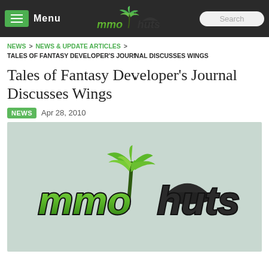MMOHuts navigation bar with Menu button, MMOHuts logo, and Search box
NEWS > NEWS & UPDATE ARTICLES > TALES OF FANTASY DEVELOPER'S JOURNAL DISCUSSES WINGS
Tales of Fantasy Developer's Journal Discusses Wings
NEWS  Apr 28, 2010
[Figure (logo): MMOHuts logo — green stylized italic text 'mmo' with a palm tree graphic and 'huts' in dark/black text, displayed on a mint/sage green textured background]